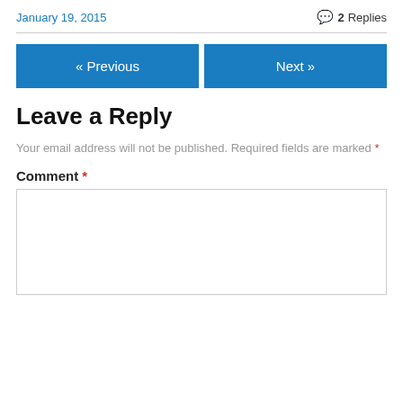January 19, 2015
2 Replies
« Previous
Next »
Leave a Reply
Your email address will not be published. Required fields are marked *
Comment *